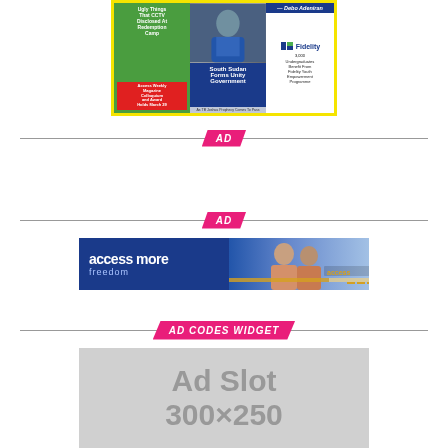[Figure (other): Magazine collage thumbnail showing green/yellow cover with headline 'Ugly Things That CCTV Disclosed At Redemption Camp', 'Access Weekly Magazine Colloquium and Award Holds March 29', a man's photo, 'South Sudan Forms Unity Government', Fidelity Bank logo, '3,000 Undergraduates Benefit From Fidelity Youth Empowerment Programme', and 'Debo Adeniran' quote]
AD
AD
[Figure (other): Access Bank 'access more freedom' banner ad with blue background, two people smiling, golden stripe, Access bank logo]
AD CODES WIDGET
[Figure (other): Ad Slot placeholder box showing 'Ad Slot 300×250' in gray]